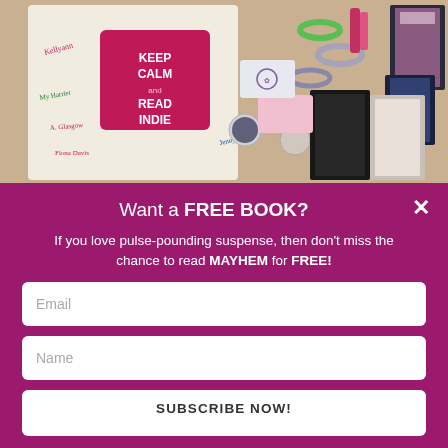[Figure (photo): Photo of book fair swag items: a white tote bag signed by authors with a pink 'Keep Calm and Read Indie' patch, surrounded by buttons, rubber bracelets, bookmarks, book cards, and other book merchandise on a brown surface.]
Want a FREE BOOK?
If you love pulse-pounding suspense, then don't miss the chance to read MAYHEM for FREE!